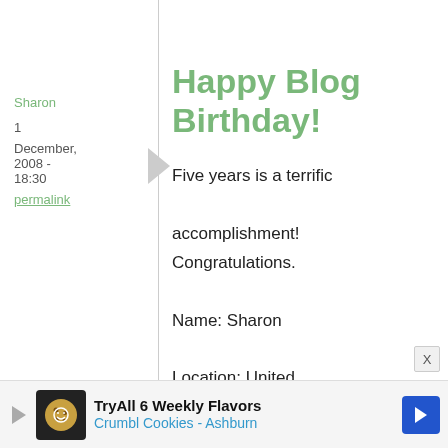Sharon
1
December, 2008 - 18:30
permalink
Happy Blog Birthday!
Five years is a terrific accomplishment! Congratulations.

Name: Sharon
Location: United States
TryAll 6 Weekly Flavors Crumbl Cookies - Ashburn